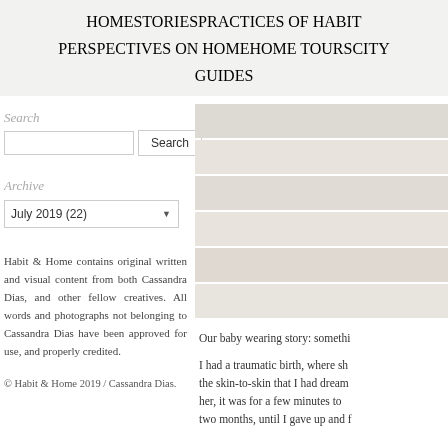HOME   STORIES   PRACTICES OF HABIT
PERSPECTIVES ON HOME   HOME TOURS   CITY
GUIDES
Search
Archive
July 2019 (22)
Habit & Home contains original written and visual content from both Cassandra Dias, and other fellow creatives. All words and photographs not belonging to Cassandra Dias have been approved for use, and properly credited.
© Habit & Home 2019 / Cassandra Dias.
Our baby wearing story: somethi
I had a traumatic birth, where sh the skin-to-skin that I had dream her, it was for a few minutes to two months, until I gave up and f
When I w the first t and si